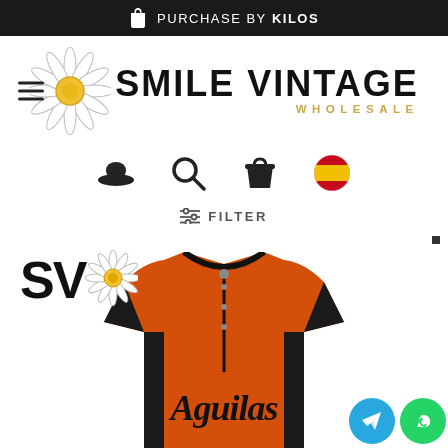PURCHASE BY KILOS
[Figure (logo): Smile Vintage Wholesale logo with daisy flower and bold text]
[Figure (infographic): Navigation icons: account (bowler hat), search (magnifying glass), cart (bag), Spain flag]
FILTER
[Figure (photo): Orange Aguilas baseball jersey product photo with SV daisy watermark, Telegram and WhatsApp contact buttons]